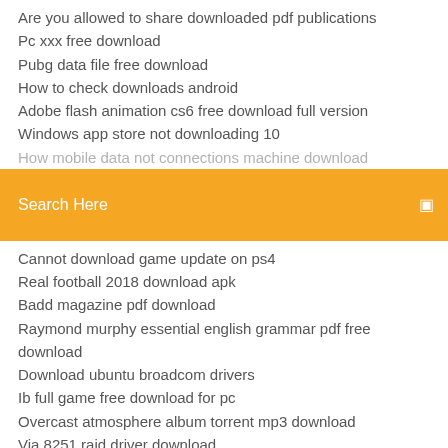Are you allowed to share downloaded pdf publications
Pc xxx free download
Pubg data file free download
How to check downloads android
Adobe flash animation cs6 free download full version
Windows app store not downloading 10
[partially visible line]
[Figure (screenshot): Orange search bar with text 'Search Here' and a search icon on the right]
Cannot download game update on ps4
Real football 2018 download apk
Badd magazine pdf download
Raymond murphy essential english grammar pdf free download
Download ubuntu broadcom drivers
Ib full game free download for pc
Overcast atmosphere album torrent mp3 download
Via 8251 raid driver download
Kinemaster pc apps download